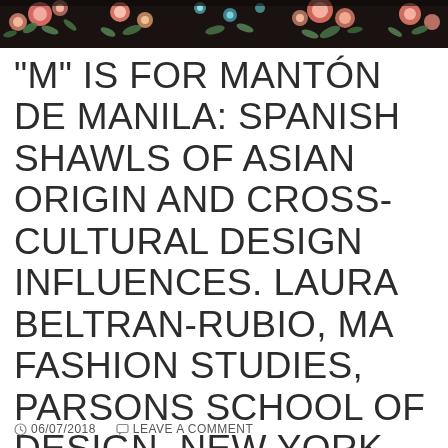[Figure (illustration): Decorative floral/botanical header image with colorful flowers on a dark background]
“M” IS FOR MANTÓN DE MANILA: SPANISH SHAWLS OF ASIAN ORIGIN AND CROSS-CULTURAL DESIGN INFLUENCES. LAURA BELTRAN-RUBIO, MA FASHION STUDIES, PARSONS SCHOOL OF DESIGN, NEW YORK CITY (USA)
⋯ 06/07/2018   💬 LEAVE A COMMENT